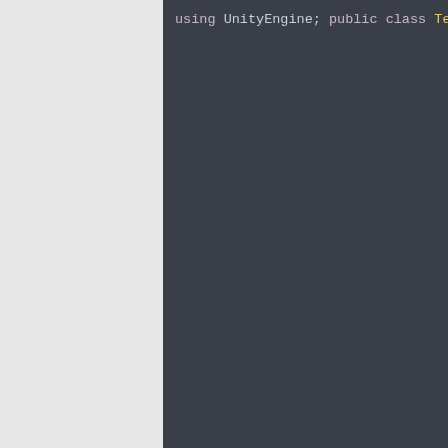[Figure (screenshot): Code editor screenshot showing Unity C# script with syntax highlighting on dark background. Code includes using UnityEngine; public class TestScript, fields absorb and iceArmor, private void Start() calling StartCoroutine, IEnumerator IceArmor method with iceArmor=true, float timeElapsed, while(timeElapsed) block.]